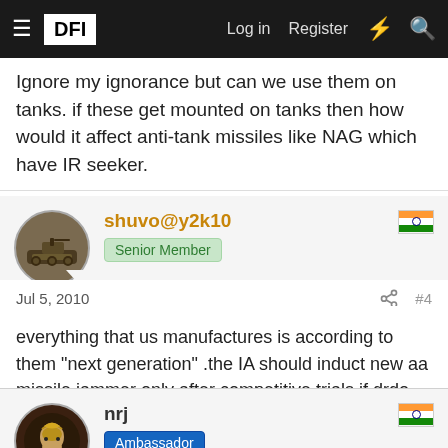DFI — Log in | Register
Ignore my ignorance but can we use them on tanks. if these get mounted on tanks then how would it affect anti-tank missiles like NAG which have IR seeker.
shuvo@y2k10 — Senior Member
Jul 5, 2010  #4
everything that us manufactures is according to them "next generation" .the IA should induct new aa missile jammer only after competitive trials if drdo fails to produce one.if we have that in direct government to government sales we have to sign another 100 security agreements with them.
nrj — Ambassador